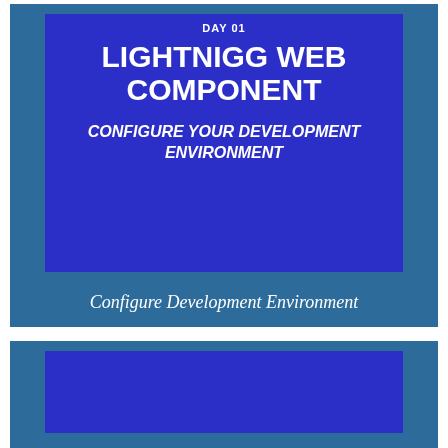LIGHTNIGG WEB COMPONENT
CONFIGURE YOUR DEVELOPMENT ENVIRONMENT
Configure Development Environment
[Figure (illustration): Second card panel with teal outer background and dark blue inner rectangle, partially visible at bottom of page]